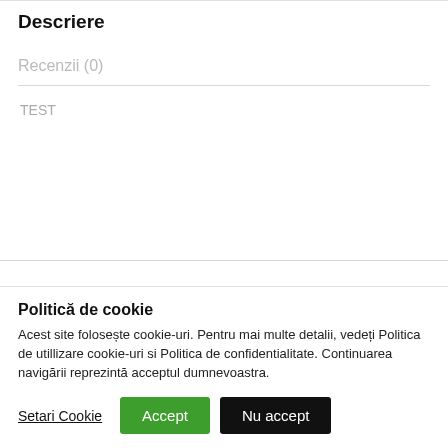Descriere
Recenzii (0)
TEST
Politică de cookie
Acest site folosește cookie-uri. Pentru mai multe detalii, vedeți Politica de utillizare cookie-uri si Politica de confidentialitate. Continuarea navigării reprezintă acceptul dumnevoastra.
Setari Cookie | Accept | Nu accept